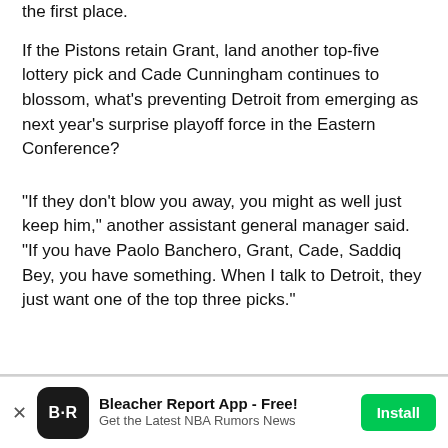the first place.
If the Pistons retain Grant, land another top-five lottery pick and Cade Cunningham continues to blossom, what's preventing Detroit from emerging as next year's surprise playoff force in the Eastern Conference?
"If they don't blow you away, you might as well just keep him," another assistant general manager said. "If you have Paolo Banchero, Grant, Cade, Saddiq Bey, you have something. When I talk to Detroit, they just want one of the top three picks."
Bleacher Report App - Free! Get the Latest NBA Rumors News | Install